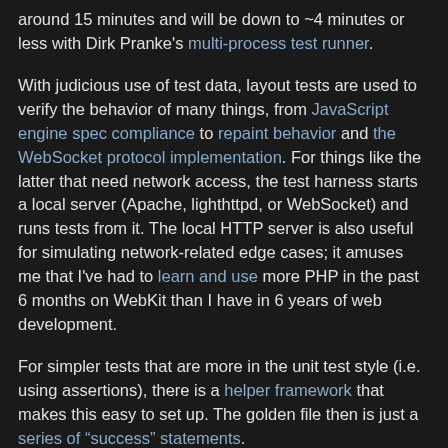around 15 minutes and will be down to ~4 minutes or less with Dirk Pranke's multi-process test runner.
With judicious use of test data, layout tests are used to verify the behavior of many things, from JavaScript engine spec compliance to repaint behavior and the WebSocket protocol implementation. For things like the latter that need network access, the test harness starts a local server (Apache, lighthttpd, or WebSocket) and runs tests from it. The local HTTP server is also useful for simulating network-related edge cases; it amuses me that I've had to learn and use more PHP in the past 6 months on WebKit than I have in 6 years of web development.
For simpler tests that are more in the unit test style (i.e. using assertions), there is a helper framework that makes this easy to set up. The golden file then is just a series of "success" statements.
Given that the layout test infrastructure tests not just rendering/layout, but also unit tests the JavaScript bindings, interactions with the network stack, does order-of-magnitude performance tests, and much more, the name "layout test" is